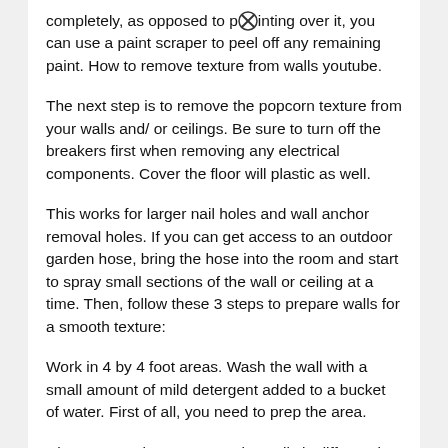completely, as opposed to pointing over it, you can use a paint scraper to peel off any remaining paint. How to remove texture from walls youtube.
The next step is to remove the popcorn texture from your walls and/ or ceilings. Be sure to turn off the breakers first when removing any electrical components. Cover the floor will plastic as well.
This works for larger nail holes and wall anchor removal holes. If you can get access to an outdoor garden hose, bring the hose into the room and start to spray small sections of the wall or ceiling at a time. Then, follow these 3 steps to prepare walls for a smooth texture:
Work in 4 by 4 foot areas. Wash the wall with a small amount of mild detergent added to a bucket of water. First of all, you need to prep the area.
Chances are the texture on the walls is different in more ways than one. If you have a really heavy texture, you'll need to use a paint remover.